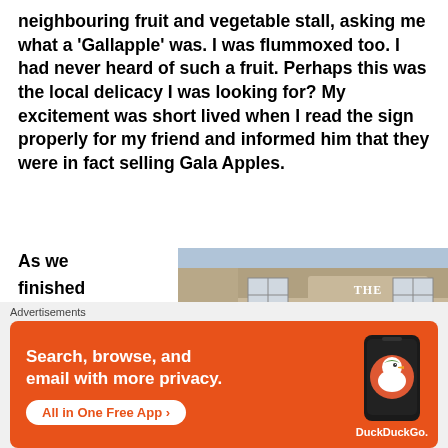neighbouring fruit and vegetable stall, asking me what a 'Gallapple' was. I was flummoxed too. I had never heard of such a fruit. Perhaps this was the local delicacy I was looking for? My excitement was short lived when I read the sign properly for my friend and informed him that they were in fact selling Gala Apples.
As we finished our cups of tea, Lee
[Figure (photo): Photo of The Barum Top Inn, a stone-built pub with signage reading 'THE BARUM TOP INN' above the entrance arch, with hanging flower baskets and a street lamp in front.]
Advertisements
[Figure (infographic): DuckDuckGo advertisement banner on orange background. Text: 'Search, browse, and email with more privacy.' Button: 'All in One Free App'. Shows a phone with DuckDuckGo logo and 'DuckDuckGo.' text.]